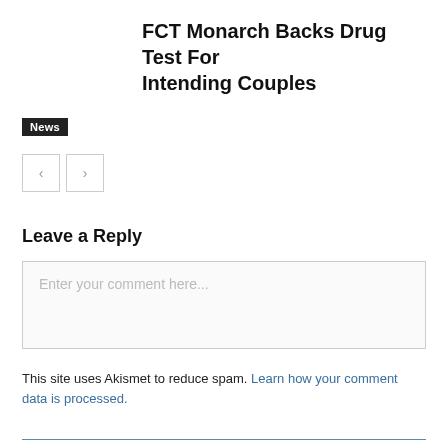FCT Monarch Backs Drug Test For Intending Couples
News
Leave a Reply
Enter your comment here...
This site uses Akismet to reduce spam. Learn how your comment data is processed.
get in touch